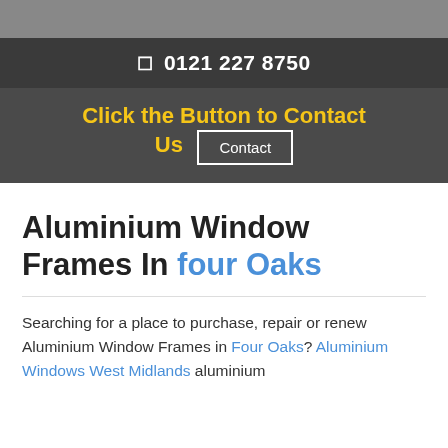📞  0121 227 8750
Click the Button to Contact Us   Contact
Aluminium Window Frames In four Oaks
Searching for a place to purchase, repair or renew Aluminium Window Frames in Four Oaks? Aluminium Windows West Midlands aluminium